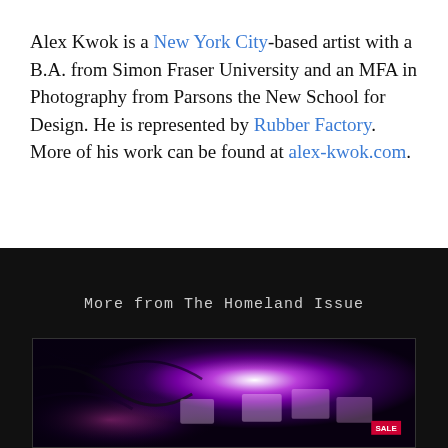Alex Kwok is a New York City-based artist with a B.A. from Simon Fraser University and an MFA in Photography from Parsons the New School for Design. He is represented by Rubber Factory. More of his work can be found at alex-kwok.com.
More from The Homeland Issue
[Figure (photo): A photograph showing electronic equipment illuminated by purple and magenta LED grow lights, with a bright white hotspot and cables visible. A red SALE tag is visible in the bottom right corner.]